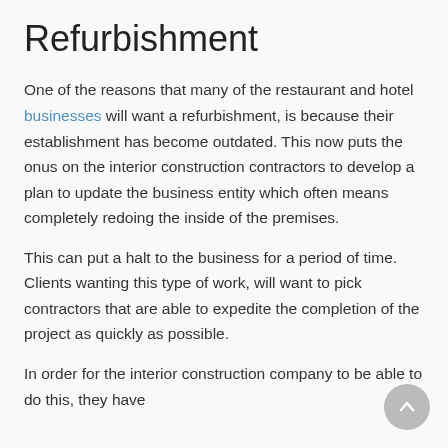Refurbishment
One of the reasons that many of the restaurant and hotel businesses will want a refurbishment, is because their establishment has become outdated. This now puts the onus on the interior construction contractors to develop a plan to update the business entity which often means completely redoing the inside of the premises.
This can put a halt to the business for a period of time. Clients wanting this type of work, will want to pick contractors that are able to expedite the completion of the project as quickly as possible.
In order for the interior construction company to be able to do this, they have